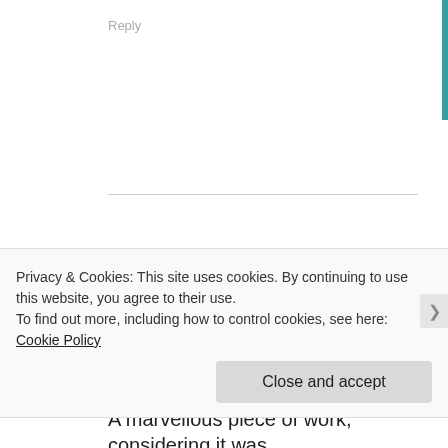Reply
[Figure (photo): User avatar photo for saintronald2010, showing a partially visible person]
saintronald2010 · November 3, 2015
A marvellous piece of work, considering it was
Privacy & Cookies: This site uses cookies. By continuing to use this website, you agree to their use.
To find out more, including how to control cookies, see here: Cookie Policy
Close and accept